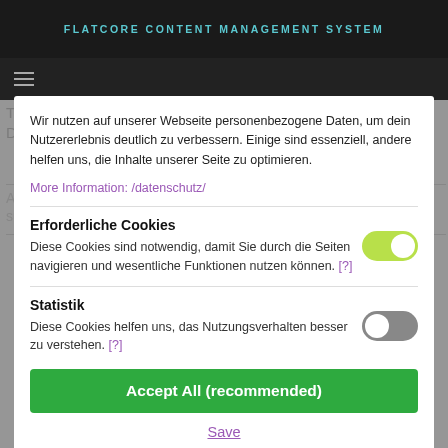FLATCORE CONTENT MANAGEMENT SYSTEM
Wir nutzen auf unserer Webseite personenbezogene Daten, um dein Nutzererlebnis deutlich zu verbessern. Einige sind essenziell, andere helfen uns, die Inhalte unserer Seite zu optimieren.
More Information: /datenschutz/
Erforderliche Cookies
Diese Cookies sind notwendig, damit Sie durch die Seiten navigieren und wesentliche Funktionen nutzen können. [?]
Statistik
Diese Cookies helfen uns, das Nutzungsverhalten besser zu verstehen. [?]
Accept All (recommended)
Save
js (Directory for JavaScript files)
php (Directory for PHP Scripts)